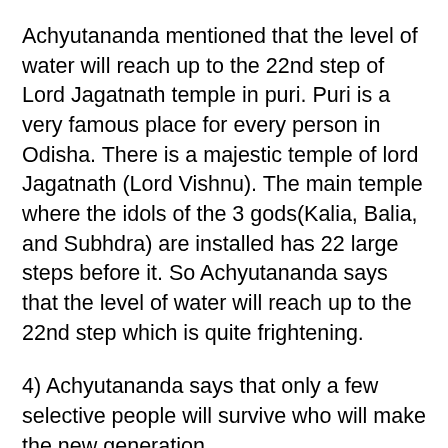Achyutananda mentioned that the level of water will reach up to the 22nd step of Lord Jagatnath temple in puri. Puri is a very famous place for every person in Odisha. There is a majestic temple of lord Jagatnath (Lord Vishnu). The main temple where the idols of the 3 gods(Kalia, Balia, and Subhdra) are installed has 22 large steps before it. So Achyutananda says that the level of water will reach up to the 22nd step which is quite frightening.
4) Achyutananda says that only a few selective people will survive who will make the new generation.
FATE OF WORLD ON 2025